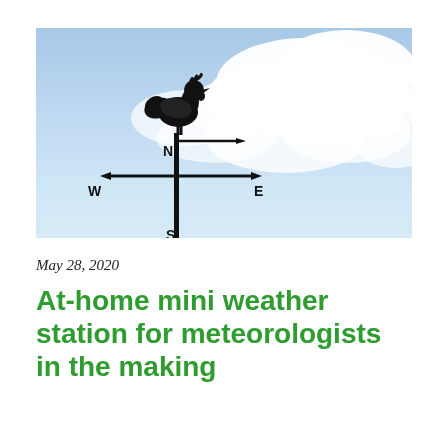[Figure (photo): Photo of a weather vane silhouette (rooster on top with cardinal direction arrows N, E, W, S) against a bright blue sky with white clouds.]
May 28, 2020
At-home mini weather station for meteorologists in the making